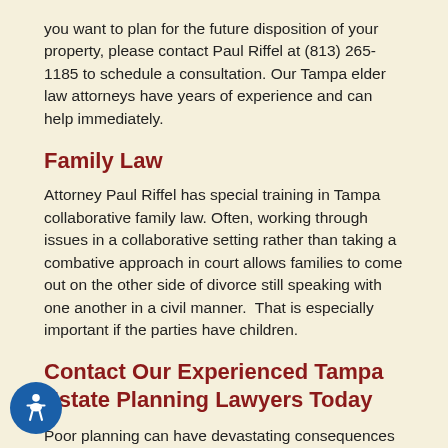you want to plan for the future disposition of your property, please contact Paul Riffel at (813) 265-1185 to schedule a consultation. Our Tampa elder law attorneys have years of experience and can help immediately.
Family Law
Attorney Paul Riffel has special training in Tampa collaborative family law. Often, working through issues in a collaborative setting rather than taking a combative approach in court allows families to come out on the other side of divorce still speaking with one another in a civil manner. That is especially important if the parties have children.
Contact Our Experienced Tampa Estate Planning Lawyers Today
Poor planning can have devastating consequences on the financial and physical well-being of elderly family members who are stricken by ill health in their later years. If you live in the Tampa, Brandon, Riverview, or Hillsborough County areas and want to plan for the future disposition of your property, please contact Tampa estate planning lawyer Paul Riffel at (813) 265-